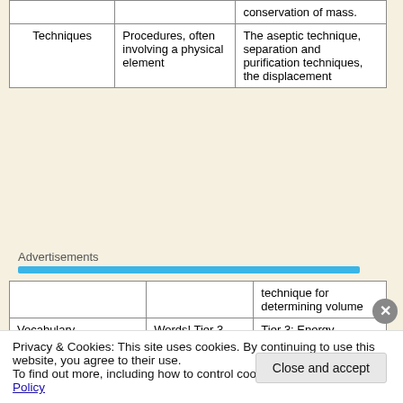|  |  | conservation of mass. |
| Techniques | Procedures, often involving a physical element | The aseptic technique, separation and purification techniques, the displacement |
Advertisements
|  |  | technique for determining volume |
| Vocabulary | Words! Tier 3 specialist and Tier 2 academic | Tier 3: Energy, carbon, cilia
Tier 2: Confer, determine, consist |
| Abstractness/generality | The extent to which a | The principle of |
Privacy & Cookies: This site uses cookies. By continuing to use this website, you agree to their use.
To find out more, including how to control cookies, see here: Cookie Policy